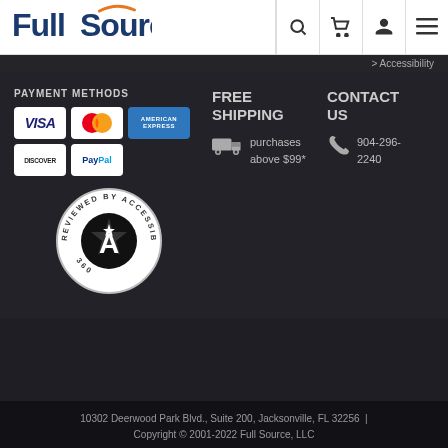FullSource — navigation header with search, cart, account, menu icons
> Accessibility
PAYMENT METHODS
[Figure (other): Payment method logos: Visa, Mastercard, American Express, Discover, PayPal]
[Figure (other): Reviewed by Accessible360 badge — circular badge with A star logo]
FREE SHIPPING
purchases above $99*
CONTACT US
904-296-2240
10302 Deerwood Park Blvd., Suite 200, Jacksonville, FL 32256  |  Copyright © 2001-2022 Full Source, LLC